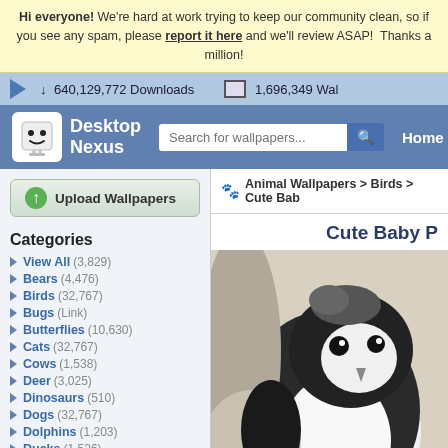Hi everyone! We're hard at work trying to keep our community clean, so if you see any spam, please report it here and we'll review ASAP! Thanks a million!
640,129,772 Downloads   1,696,349 Wal
[Figure (logo): Desktop Nexus logo with white robot mascot icon and site name]
Search for wallpapers...
Home
Upload Wallpapers
Animal Wallpapers > Birds > Cute Bab
Cute Baby P
Categories
View All (3,829)
Bears (4,476)
Birds (32,767)
Bugs (Link)
Butterflies (10,630)
Cats (32,767)
Cows (1,538)
Deer (3,025)
Dinosaurs (510)
Dogs (32,767)
Dolphins (1,203)
Ducks (1,526)
Elephants (1,302)
Fish (3,162)
Frogs (5,708)
[Figure (photo): Black and white photo of a cute baby penguin chick looking at the camera]